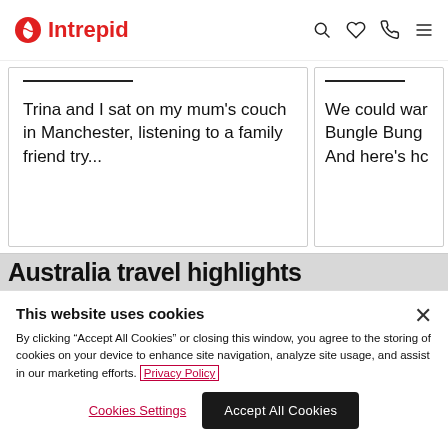Intrepid
Trina and I sat on my mum's couch in Manchester, listening to a family friend try...
We could war Bungle Bung And here's hc
Australia travel highlights
This website uses cookies
By clicking "Accept All Cookies" or closing this window, you agree to the storing of cookies on your device to enhance site navigation, analyze site usage, and assist in our marketing efforts. Privacy Policy
Cookies Settings
Accept All Cookies